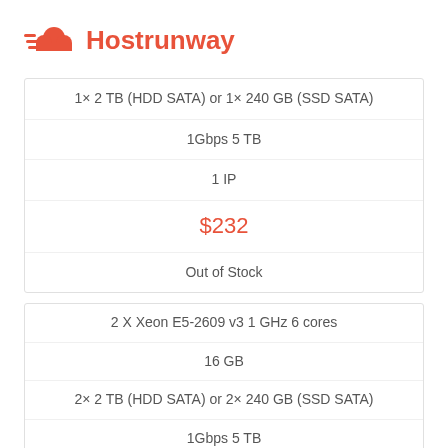[Figure (logo): Hostrunway logo with red cloud and speed lines icon, red bold text 'Hostrunway']
| 1× 2 TB (HDD SATA) or 1× 240 GB (SSD SATA) |
| 1Gbps 5 TB |
| 1 IP |
| $232 |
| Out of Stock |
| 2 X Xeon E5-2609 v3 1 GHz 6 cores |
| 16 GB |
| 2× 2 TB (HDD SATA) or 2× 240 GB (SSD SATA) |
| 1Gbps 5 TB |